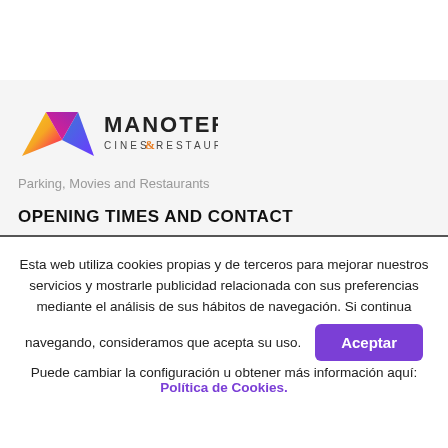[Figure (logo): Manoteras Cines & Restaurantes logo with colorful M icon and text]
Parking, Movies and Restaurants
OPENING TIMES AND CONTACT
Esta web utiliza cookies propias y de terceros para mejorar nuestros servicios y mostrarle publicidad relacionada con sus preferencias mediante el análisis de sus hábitos de navegación. Si continua navegando, consideramos que acepta su uso. [Aceptar] Puede cambiar la configuración u obtener más información aquí: Política de Cookies.